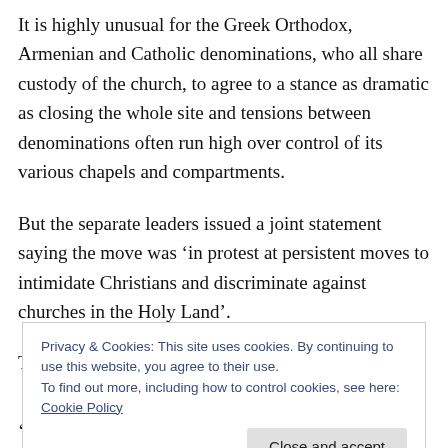It is highly unusual for the Greek Orthodox, Armenian and Catholic denominations, who all share custody of the church, to agree to a stance as dramatic as closing the whole site and tensions between denominations often run high over control of its various chapels and compartments.
But the separate leaders issued a joint statement saying the move was ‘in protest at persistent moves to intimidate Christians and discriminate against churches in the Holy Land’.
The church...
Privacy & Cookies: This site uses cookies. By continuing to use this website, you agree to their use.
To find out more, including how to control cookies, see here: Cookie Policy
‘discriminatory and racist’ as well as ‘abhorrent’ in the